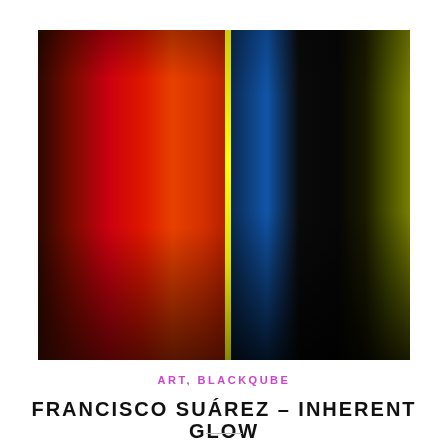[Figure (illustration): Abstract color field artwork by Francisco Suárez titled 'Inherent Glow'. Left panel shows a vertical gradient blending from dark brown at the edges through vivid red in the center-left to orange toward the center. Right panel shows a narrow vertical yellow stripe at the division, then blue fading to black in the center-right, and an olive/yellow-green gradient on the far right, all fading to near-black at the bottom.]
ART, BLACKQUBE
FRANCISCO SUÁREZ – INHERENT GLOW